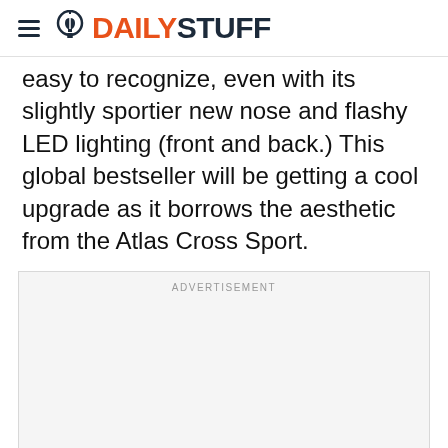DAILYSTUFF
easy to recognize, even with its slightly sportier new nose and flashy LED lighting (front and back.) This global bestseller will be getting a cool upgrade as it borrows the aesthetic from the Atlas Cross Sport.
ADVERTISEMENT